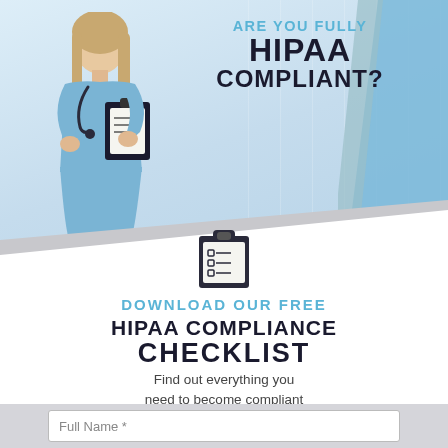[Figure (illustration): Female nurse in blue scrubs holding a clipboard, standing in a hospital corridor background with blue and gray diagonal stripes on the right side]
ARE YOU FULLY HIPAA COMPLIANT?
[Figure (illustration): Clipboard icon with checklist lines]
DOWNLOAD OUR FREE
HIPAA COMPLIANCE CHECKLIST
Find out everything you need to become compliant
Full Name *